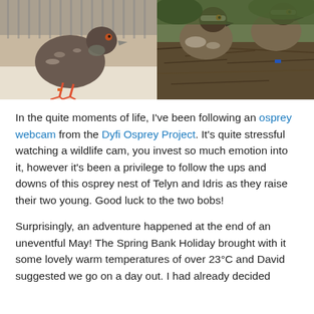[Figure (photo): Two-photo collage: left shows a pigeon/rock dove with orange-red feet and beak, speckled brown-grey plumage, standing on a white surface near a cage; right shows osprey chicks in a large stick nest, brown and white plumage, with blue leg ring visible on one chick.]
In the quite moments of life, I've been following an osprey webcam from the Dyfi Osprey Project. It's quite stressful watching a wildlife cam, you invest so much emotion into it, however it's been a privilege to follow the ups and downs of this osprey nest of Telyn and Idris as they raise their two young. Good luck to the two bobs!
Surprisingly, an adventure happened at the end of an uneventful May! The Spring Bank Holiday brought with it some lovely warm temperatures of over 23°C and David suggested we go on a day out. I had already decided